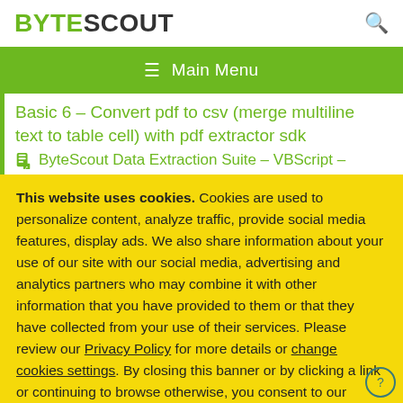BYTESCOUT
≡ Main Menu
Basic 6 – Convert pdf to csv (merge multiline text to table cell) with pdf extractor sdk
ByteScout Data Extraction Suite – VBScript –
This website uses cookies. Cookies are used to personalize content, analyze traffic, provide social media features, display ads. We also share information about your use of our site with our social media, advertising and analytics partners who may combine it with other information that you have provided to them or that they have collected from your use of their services. Please review our Privacy Policy for more details or change cookies settings. By closing this banner or by clicking a link or continuing to browse otherwise, you consent to our cookies.
OK